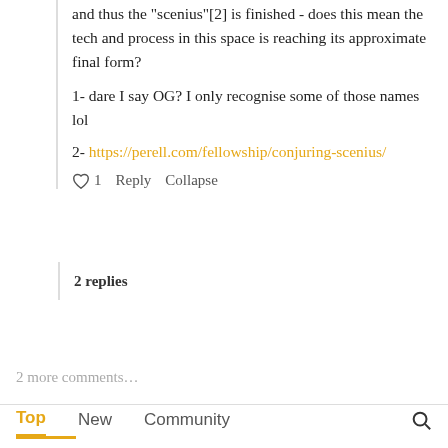and thus the "scenius"[2] is finished - does this mean the tech and process in this space is reaching its approximate final form?

1- dare I say OG? I only recognise some of those names lol

2- https://perell.com/fellowship/conjuring-scenius/
2 replies
2 more comments…
Top   New   Community
Macroeconomics and the data industry